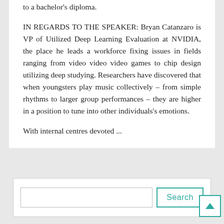to a bachelor's diploma.
IN REGARDS TO THE SPEAKER: Bryan Catanzaro is VP of Utilized Deep Learning Evaluation at NVIDIA, the place he leads a workforce fixing issues in fields ranging from video video video games to chip design utilizing deep studying. Researchers have discovered that when youngsters play music collectively – from simple rhythms to larger group performances – they are higher in a position to tune into other individuals's emotions.
With internal centres devoted ...